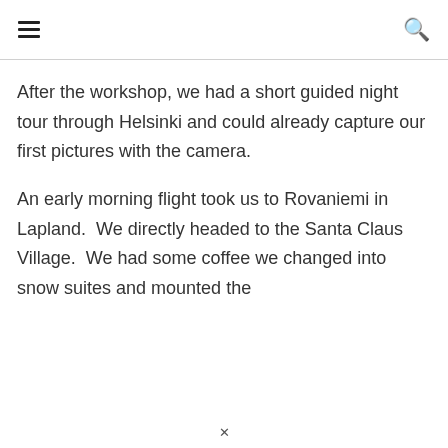☰  🔍
After the workshop, we had a short guided night tour through Helsinki and could already capture our first pictures with the camera.
An early morning flight took us to Rovaniemi in Lapland.  We directly headed to the Santa Claus Village.  We had some coffee we changed into snow suites and mounted the